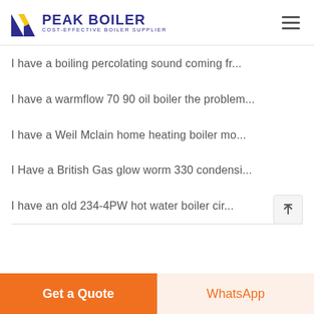PEAK BOILER COST-EFFECTIVE BOILER SUPPLIER
I have a boiling percolating sound coming fr...
I have a warmflow 70 90 oil boiler the problem...
I have a Weil Mclain home heating boiler mo...
I Have a British Gas glow worm 330 condensi...
I have an old 234-4PW hot water boiler cir...